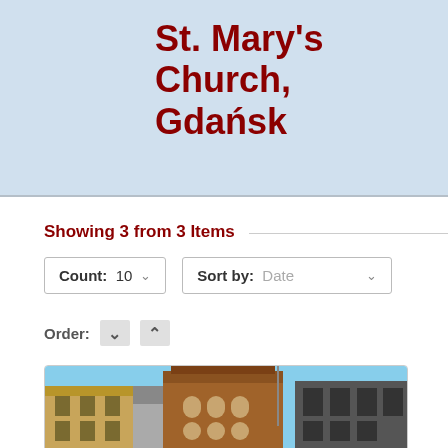St. Mary's Church, Gdańsk
Showing 3 from 3 Items
Count: 10 ∨
Sort by: Date ∨
Order: ∨ ∧
[Figure (photo): Photograph of St. Mary's Church in Gdańsk showing Gothic brick tower and surrounding buildings against a blue sky]